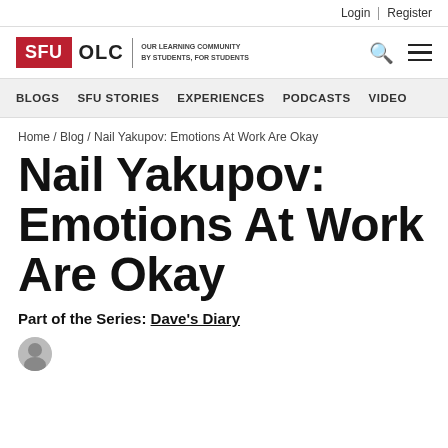Login | Register
[Figure (logo): SFU OLC Our Learning Community logo with search and menu icons]
BLOGS  SFU STORIES  EXPERIENCES  PODCASTS  VIDEO
Home / Blog / Nail Yakupov: Emotions At Work Are Okay
Nail Yakupov: Emotions At Work Are Okay
Part of the Series: Dave's Diary